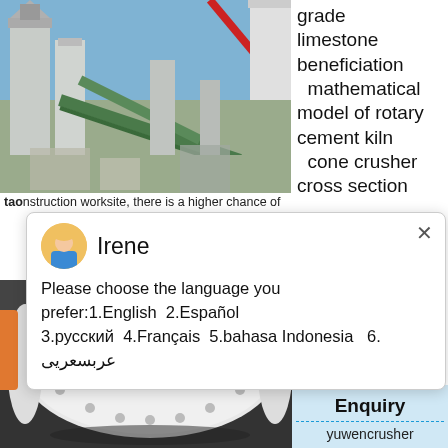[Figure (photo): Industrial mineral processing plant with conveyors, silos, and equipment under blue sky]
grade limestone beneficiation mathematical model of rotary cement kiln cone crusher cross section
construction worksite, there is a higher chance of
[Figure (screenshot): Chat popup with avatar of Irene showing language selection message]
Irene
Please choose the language you prefer:1.English  2.Español 3.русский  4.Français  5.bahasa Indonesia   6. عربسعريى
Email contact
[Figure (photo): Large industrial ball mill or cylindrical grinding equipment inside a factory]
[Figure (photo): Crusher equipment with blue circle badge showing number 1]
Click me to chat>>
Enquiry
yuwencrusher